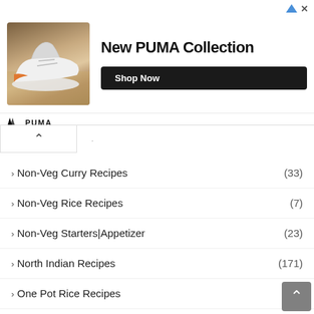[Figure (illustration): PUMA advertisement banner featuring a white sneaker/shoe on a wooden floor background, with 'New PUMA Collection' headline and 'Shop Now' button. PUMA logo and name at bottom of banner.]
› Non-Veg Curry Recipes (33)
› Non-Veg Rice Recipes (7)
› Non-Veg Starters|Appetizer (23)
› North Indian Recipes (171)
› One Pot Rice Recipes (22)
› Paneer Recipes (16)
› Paratha Recipes (8)
› Payasam Recipes (3)
› Podi Recipes (9)
› Popsicle Recipes (5)